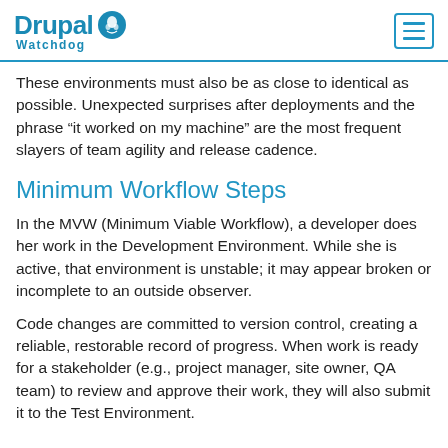Drupal Watchdog
These environments must also be as close to identical as possible. Unexpected surprises after deployments and the phrase “it worked on my machine” are the most frequent slayers of team agility and release cadence.
Minimum Workflow Steps
In the MVW (Minimum Viable Workflow), a developer does her work in the Development Environment. While she is active, that environment is unstable; it may appear broken or incomplete to an outside observer.
Code changes are committed to version control, creating a reliable, restorable record of progress. When work is ready for a stakeholder (e.g., project manager, site owner, QA team) to review and approve their work, they will also submit it to the Test Environment...